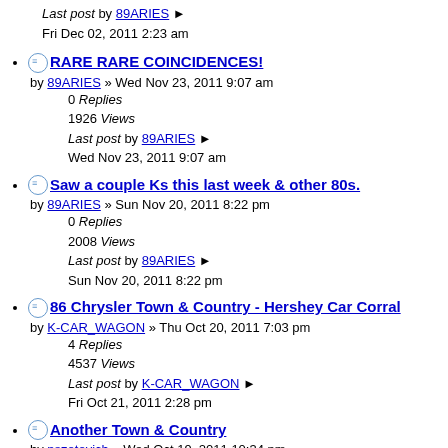Last post by 89ARIES
Fri Dec 02, 2011 2:23 am
RARE RARE COINCIDENCES!
by 89ARIES » Wed Nov 23, 2011 9:07 am
0 Replies
1926 Views
Last post by 89ARIES
Wed Nov 23, 2011 9:07 am
Saw a couple Ks this last week & other 80s.
by 89ARIES » Sun Nov 20, 2011 8:22 pm
0 Replies
2008 Views
Last post by 89ARIES
Sun Nov 20, 2011 8:22 pm
86 Chrysler Town & Country - Hershey Car Corral
by K-CAR_WAGON » Thu Oct 20, 2011 7:03 pm
4 Replies
4537 Views
Last post by K-CAR_WAGON
Fri Oct 21, 2011 2:28 pm
Another Town & Country
by pszotovich » Wed Oct 19, 2011 10:34 pm